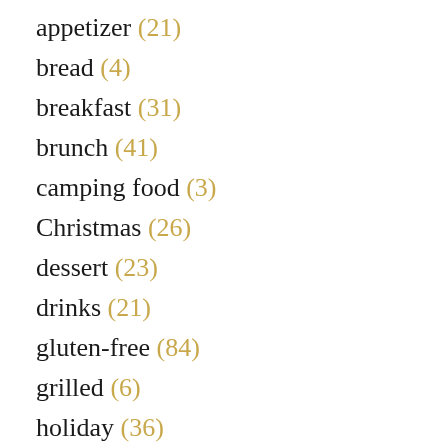appetizer (21)
bread (4)
breakfast (31)
brunch (41)
camping food (3)
Christmas (26)
dessert (23)
drinks (21)
gluten-free (84)
grilled (6)
holiday (36)
lunch (35)